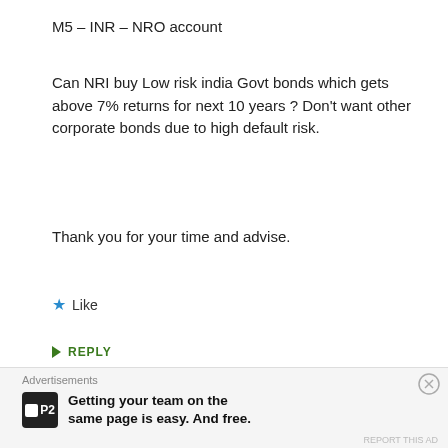M5 – INR – NRO account
Can NRI buy Low risk india Govt bonds which gets above 7% returns for next 10 years ? Don't want other corporate bonds due to high default risk.
Thank you for your time and advise.
★ Like
➤ REPLY
★ Aditya
FEBRUARY 22, 2021 AT 8:11 AM
Advertisements
Getting your team on the same page is easy. And free.